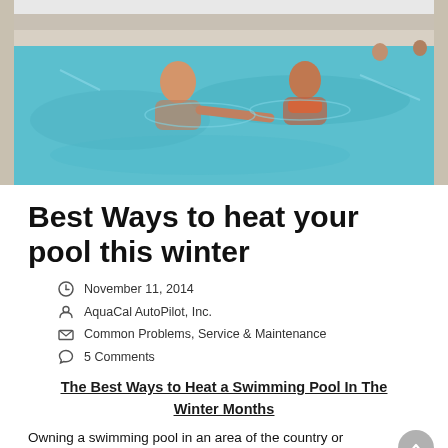[Figure (photo): Two people swimming in an outdoor pool in winter conditions, with snow visible around the pool edges. The water is blue-green and they appear to be enjoying a heated pool.]
Best Ways to heat your pool this winter
November 11, 2014
AquaCal AutoPilot, Inc.
Common Problems, Service & Maintenance
5 Comments
The Best Ways to Heat a Swimming Pool In The Winter Months
Owning a swimming pool in an area of the country or world that has a winter season, you may think your